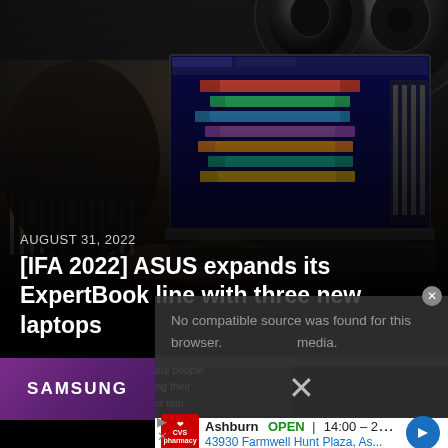[Figure (photo): Person sitting at a professional music production studio with a large mixing console, multiple monitors, and an ASUS laptop open showing a digital audio workstation (DAW) software. Studio monitors/speakers visible in the background.]
AUGUST 31, 2022
[IFA 2022] ASUS expands its ExpertBook line with three new laptops
No compatible source was found for this browser. media.
willpower is the best successful people whether what they feel by applying their you overcome anxiety, doubt or fear.
[Figure (screenshot): SAMSUNG advertisement banner in purple/violet color]
[Figure (screenshot): CVS Pharmacy map advertisement showing Ashburn location OPEN 14:00-22:00 at 43930 Farmwell Hunt Plaza, As...]